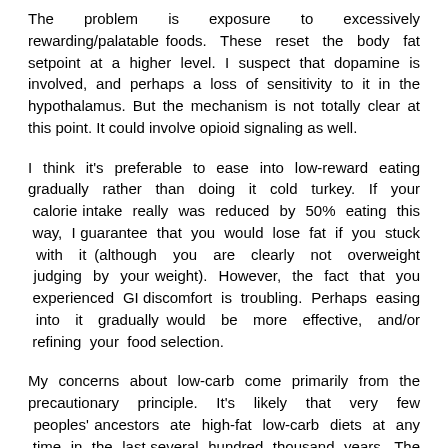The problem is exposure to excessively rewarding/palatable foods. These reset the body fat setpoint at a higher level. I suspect that dopamine is involved, and perhaps a loss of sensitivity to it in the hypothalamus. But the mechanism is not totally clear at this point. It could involve opioid signaling as well.
I think it's preferable to ease into low-reward eating gradually rather than doing it cold turkey. If your calorie intake really was reduced by 50% eating this way, I guarantee that you would lose fat if you stuck with it (although you are clearly not overweight judging by your weight). However, the fact that you experienced GI discomfort is troubling. Perhaps easing into it gradually would be more effective, and/or refining your food selection.
My concerns about low-carb come primarily from the precautionary principle. It's likely that very few peoples' ancestors ate high-fat low-carb diets at any time in the last several hundred thousand years. The long-term safety of